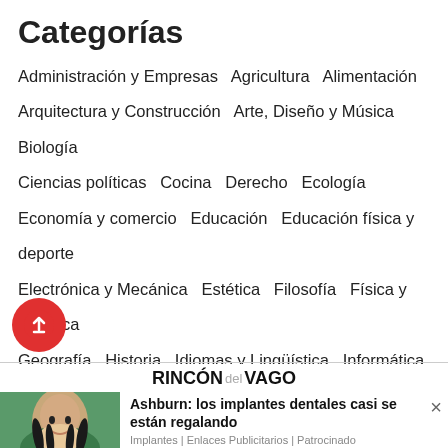Categorías
Administración y Empresas   Agricultura   Alimentación
Arquitectura y Construcción   Arte, Diseño y Música   Biología
Ciencias políticas   Cocina   Derecho   Ecología
Economía y comercio   Educación   Educación física y deporte
Electrónica y Mecánica   Estética   Filosofía   Física y Química
Geografía   Historia   Idiomas y Lingüística   Informática
Ingeniería   Literatura   Matemáticas   Medicina y Salud
Periodismo   Psicología   Publicidad y relaciones públicas
Sociología y Antropología   Turismo   Varios   Veterinaria
[Figure (logo): RINCÓN del VAGO logo]
Ashburn: los implantes dentales casi se están regalando
Implantes | Enlaces Publicitarios | Patrocinado